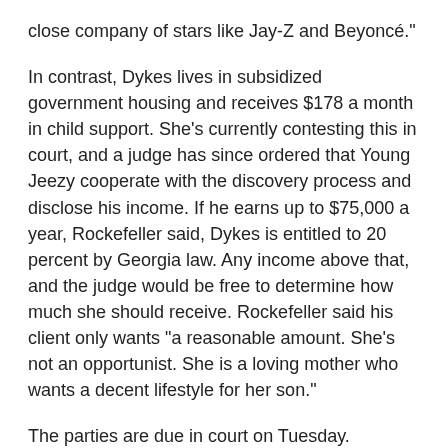close company of stars like Jay-Z and Beyoncé."
In contrast, Dykes lives in subsidized government housing and receives $178 a month in child support. She's currently contesting this in court, and a judge has since ordered that Young Jeezy cooperate with the discovery process and disclose his income. If he earns up to $75,000 a year, Rockefeller said, Dykes is entitled to 20 percent by Georgia law. Any income above that, and the judge would be free to determine how much she should receive. Rockefeller said his client only wants "a reasonable amount. She's not an opportunist. She is a loving mother who wants a decent lifestyle for her son."
The parties are due in court on Tuesday.